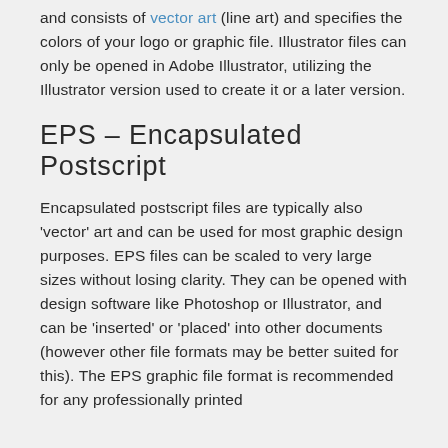and consists of vector art (line art) and specifies the colors of your logo or graphic file. Illustrator files can only be opened in Adobe Illustrator, utilizing the Illustrator version used to create it or a later version.
EPS – Encapsulated Postscript
Encapsulated postscript files are typically also 'vector' art and can be used for most graphic design purposes. EPS files can be scaled to very large sizes without losing clarity. They can be opened with design software like Photoshop or Illustrator, and can be 'inserted' or 'placed' into other documents (however other file formats may be better suited for this). The EPS graphic file format is recommended for any professionally printed